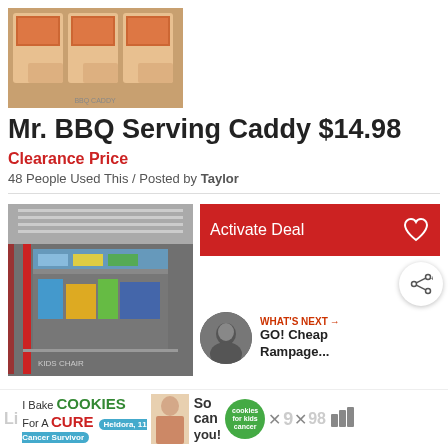[Figure (photo): Product photo of Mr. BBQ Serving Caddy boxes stacked on store shelf]
Mr. BBQ Serving Caddy $14.98
Clearance Price
48 People Used This / Posted by Taylor
[Figure (photo): Store aisle photo showing Mr. BBQ products on display]
[Figure (screenshot): Activate Deal button in red with heart icon]
[Figure (screenshot): What's Next section showing GO! Cheap Rampage...]
[Figure (photo): Advertisement banner: I Bake COOKIES For A CURE - Heldora, 11 Cancer Survivor - So can you! - cookies for kids cancer]